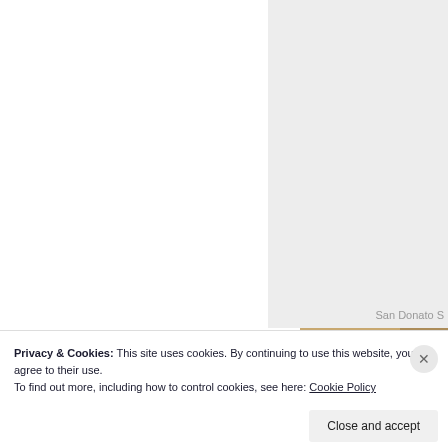[Figure (photo): Outdoor photo showing lush green trees with buildings visible in the background, cropped at right edge of page]
San Donato S
[Figure (photo): Partial photo of hands holding or playing what appears to be a stringed instrument, visible in upper right]
Privacy & Cookies: This site uses cookies. By continuing to use this website, you agree to their use.
To find out more, including how to control cookies, see here: Cookie Policy
Close and accept